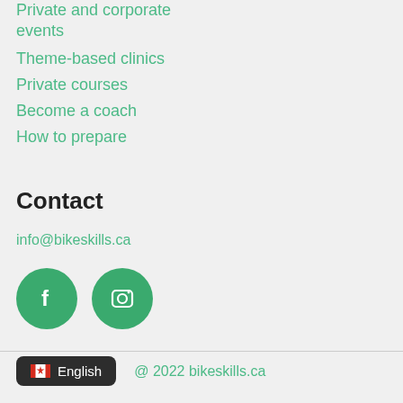Private and corporate events
Theme-based clinics
Private courses
Become a coach
How to prepare
Contact
info@bikeskills.ca
[Figure (other): Facebook and Instagram social media icon buttons (green circles with white icons)]
@ 2022 bikeskills.ca  English (Canadian flag icon)